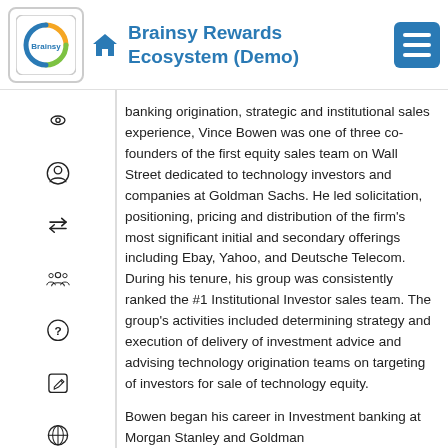Brainsy Rewards Ecosystem (Demo)
banking origination, strategic and institutional sales experience, Vince Bowen was one of three co-founders of the first equity sales team on Wall Street dedicated to technology investors and companies at Goldman Sachs. He led solicitation, positioning, pricing and distribution of the firm’s most significant initial and secondary offerings including Ebay, Yahoo, and Deutsche Telecom. During his tenure, his group was consistently ranked the #1 Institutional Investor sales team. The group’s activities included determining strategy and execution of delivery of investment advice and advising technology origination teams on targeting of investors for sale of technology equity.
Bowen began his career in Investment banking at Morgan Stanley and Goldman